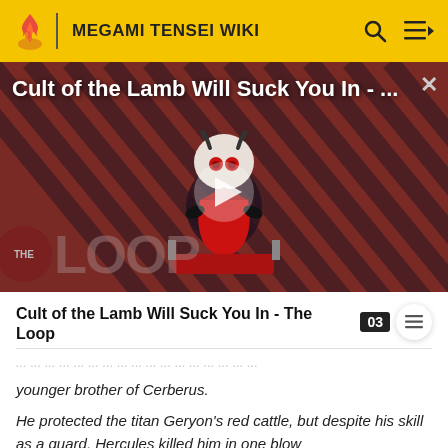MEGAMI TENSEI WIKI
[Figure (screenshot): Video thumbnail showing 'Cult of the Lamb Will Suck You In - ...' with a cartoon lamb character, diagonal red/dark stripes background, play button overlay, and 'THE LOOP' text badge at bottom left.]
Cult of the Lamb Will Suck You In - The Loop
younger brother of Cerberus.
He protected the titan Geryon's red cattle, but despite his skill as a guard, Hercules killed him in one blow